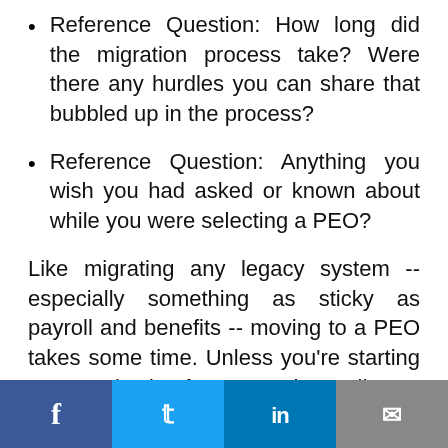Reference Question: How long did the migration process take? Were there any hurdles you can share that bubbled up in the process?
Reference Question: Anything you wish you had asked or known about while you were selecting a PEO?
Like migrating any legacy system -- especially something as sticky as payroll and benefits -- moving to a PEO takes some time. Unless you're starting an organization from scratch, you'll want to consider a couple of factors in